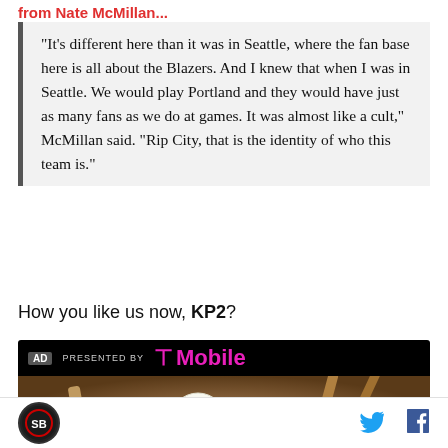from Nate McMillan...
"It's different here than it was in Seattle, where the fan base here is all about the Blazers. And I knew that when I was in Seattle. We would play Portland and they would have just as many fans as we do at games. It was almost like a cult," McMillan said. "Rip City, that is the identity of who this team is."
How you like us now, KP2?
[Figure (photo): Advertisement banner: 'PRESENTED BY T-Mobile' on black background, with a photo of baseballs and baseball bats below.]
[Figure (logo): Round sports logo at the bottom left, with social media icons (Twitter bird and Facebook f) at the bottom right.]